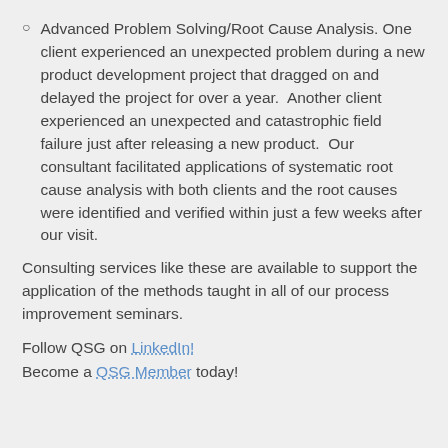Advanced Problem Solving/Root Cause Analysis. One client experienced an unexpected problem during a new product development project that dragged on and delayed the project for over a year. Another client experienced an unexpected and catastrophic field failure just after releasing a new product. Our consultant facilitated applications of systematic root cause analysis with both clients and the root causes were identified and verified within just a few weeks after our visit.
Consulting services like these are available to support the application of the methods taught in all of our process improvement seminars.
Follow QSG on LinkedIn! Become a QSG Member today!